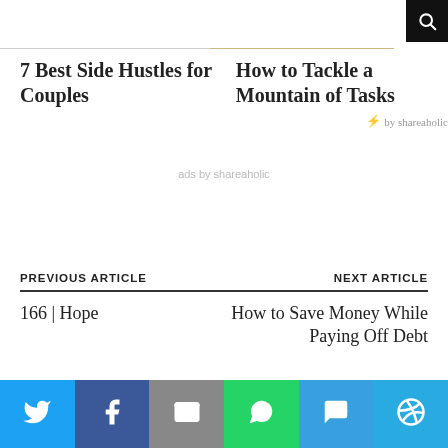[Figure (other): Black search icon button in top right corner]
7 Best Side Hustles for Couples
How to Tackle a Mountain of Tasks
by shareaholic
ads by shareaholic
PREVIOUS ARTICLE
166 | Hope
NEXT ARTICLE
How to Save Money While Paying Off Debt
[Figure (infographic): Social sharing bar with Twitter, Facebook, Email, WhatsApp, SMS, and More buttons]